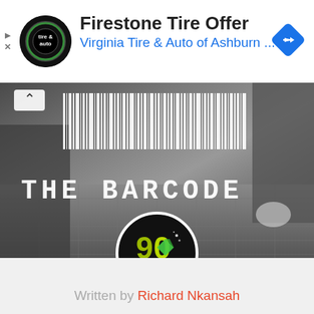[Figure (screenshot): Ad banner for Firestone Tire Offer - Virginia Tire & Auto of Ashburn with logo and navigation icon]
Firestone Tire Offer
Virginia Tire & Auto of Ashburn ...
[Figure (photo): Black and white photo of a hallway/corridor floor with THE BARCODE text overlay and barcode graphic]
[Figure (logo): 90 Hitz radio station logo - circular black badge with green and yellow 90 Hitz text]
Written by Richard Nkansah